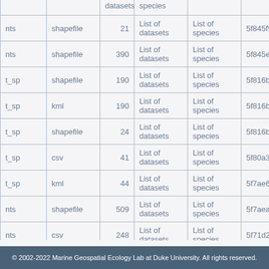| ... | ... | datasets | species | ... |
| --- | --- | --- | --- | --- |
| ...nts | shapefile | 21 | List of datasets | List of species | 5f845f9b6964... |
| ...nts | shapefile | 390 | List of datasets | List of species | 5f845eb6d93... |
| ...t_sp | shapefile | 190 | List of datasets | List of species | 5f816b482ca... |
| ...t_sp | kml | 190 | List of datasets | List of species | 5f816b482ca... |
| ...t_sp | shapefile | 24 | List of datasets | List of species | 5f816b482ca... |
| ...t_sp | csv | 41 | List of datasets | List of species | 5f80a36103e... |
| ...t_sp | kml | 44 | List of datasets | List of species | 5f7ae6586b1... |
| ...nts | shapefile | 509 | List of datasets | List of species | 5f7aeae5c9f2... |
| ...nts | csv | 248 | List of datasets | List of species | 5f71d2a9874... |
© 2002-2022 Marine Geospatial Ecology Lab at Duke University. All rights reserved.